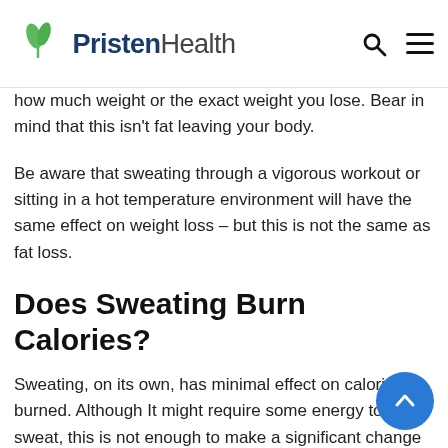PristenHealth
how much weight or the exact weight you lose. Bear in mind that this isn't fat leaving your body.
Be aware that sweating through a vigorous workout or sitting in a hot temperature environment will have the same effect on weight loss – but this is not the same as fat loss.
Does Sweating Burn Calories?
Sweating, on its own, has minimal effect on calories burned. Although It might require some energy to sweat, this is not enough to make a significant change in determining your body weight. Sweating is merely an indication that your body has lost water, weight, and